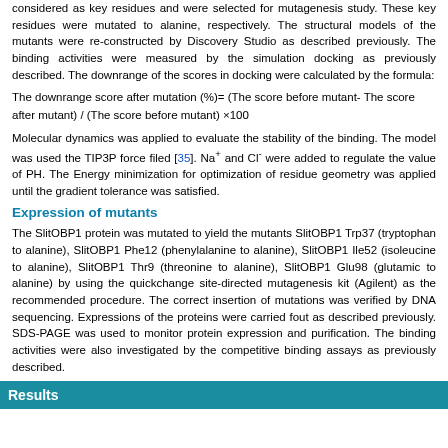considered as key residues and were selected for mutagenesis study. These key residues were mutated to alanine, respectively. The structural models of the mutants were re-constructed by Discovery Studio as described previously. The binding activities were measured by the simulation docking as previously described. The downrange of the scores in docking were calculated by the formula:
Molecular dynamics was applied to evaluate the stability of the binding. The model was used the TIP3P force filed [35]. Na+ and Cl- were added to regulate the value of PH. The Energy minimization for optimization of residue geometry was applied until the gradient tolerance was satisfied.
Expression of mutants
The SlitOBP1 protein was mutated to yield the mutants SlitOBP1 Trp37 (tryptophan to alanine), SlitOBP1 Phe12 (phenylalanine to alanine), SlitOBP1 Ile52 (isoleucine to alanine), SlitOBP1 Thr9 (threonine to alanine), SlitOBP1 Glu98 (glutamic to alanine) by using the quickchange site-directed mutagenesis kit (Agilent) as the recommended procedure. The correct insertion of mutations was verified by DNA sequencing. Expressions of the proteins were carried fout as described previously. SDS-PAGE was used to monitor protein expression and purification. The binding activities were also investigated by the competitive binding assays as previously described.
Results